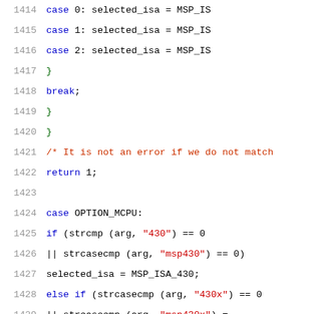[Figure (screenshot): Source code listing in C showing lines 1414-1435 of a file, with syntax highlighting. Code shows switch/case logic for MSP430 ISA selection based on CPU option arguments.]